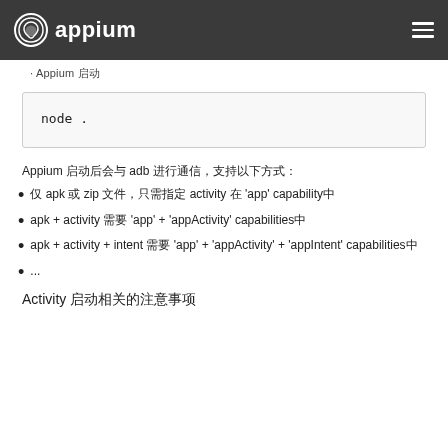appium [menu]
Appium 启动
node .
Appium 启动后会与 adb 进行通信，支持以下方式：
仅 apk 或 zip 文件，只需指定 activity 在 'app' capability中
apk + activity 需要 'app' + 'appActivity' capabilities中
apk + activity + intent 需要 'app' + 'appActivity' + 'appIntent' capabilities中
...
Activity 启动相关的注意事项